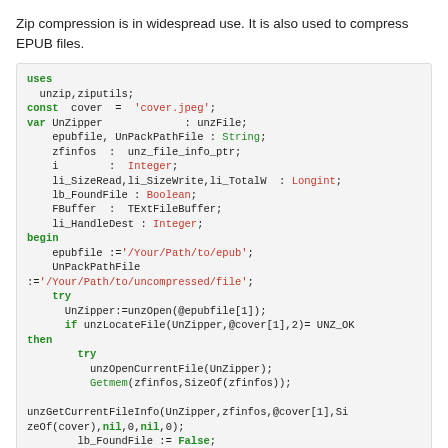Zip compression is in widespread use. It is also used to compress EPUB files.
uses
  unzip,ziputils;
const  cover  =  'cover.jpeg';
var UnZipper           : unzFile;
    epubfile, UnPackPathFile : String;
    zfinfos  :  unz_file_info_ptr;
    i        :  Integer;
    li_SizeRead,li_SizeWrite,li_TotalW  : Longint;
    lb_FoundFile : Boolean;
    FBuffer  :  TExtFileBuffer;
    li_HandleDest : Integer;
begin
    epubfile :='/Your/Path/to/epub';
    UnPackPathFile
:='/Your/Path/to/uncompressed/file';
    try
      UnZipper:=unzOpen(@epubfile[1]);
      if unzLocateFile(UnZipper,@cover[1],2)= UNZ_OK
then
        try
          unzOpenCurrentFile(UnZipper);
          Getmem(zfinfos,SizeOf(zfinfos));

unzGetCurrentFileInfo(UnZipper,zfinfos,@cover[1],SizeOf(cover),nil,0,nil,0);
          lb_FoundFile := False;
          if not FileExistsUTF8(UnPackPathFile)